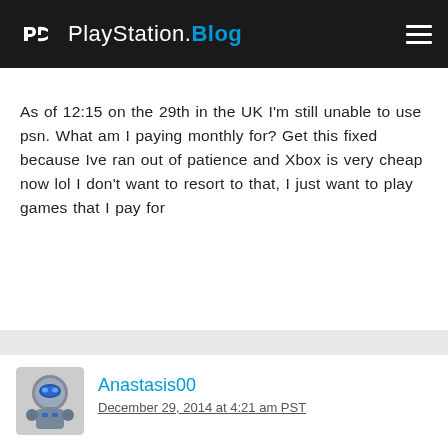PlayStation.Blog
As of 12:15 on the 29th in the UK I'm still unable to use psn. What am I paying monthly for? Get this fixed because Ive ran out of patience and Xbox is very cheap now lol I don't want to resort to that, I just want to play games that I pay for
Anastasis00
December 29, 2014 at 4:21 am PST
Guys i cant play online... I cant enter ps store, and if i have an internet connection the game( FIFA 14) cant allow me to play... i have a ps4 console...., please help me...